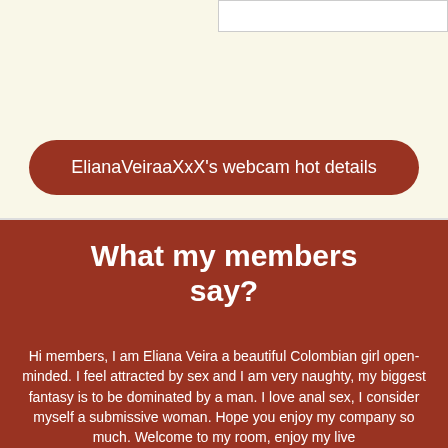ElianaVeiraaXxX's webcam hot details
What my members say?
Hi members, I am Eliana Veira a beautiful Colombian girl open-minded. I feel attracted by sex and I am very naughty, my biggest fantasy is to be dominated by a man. I love anal sex, I consider myself a submissive woman. Hope you enjoy my company so much. Welcome to my room, enjoy my live